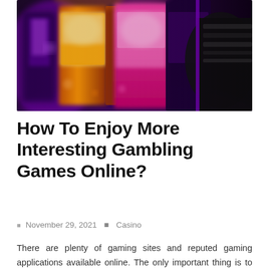[Figure (photo): Blurred photo of colorful casino slot machines in a row, with bright purple, orange, and pink lights. People are visible in background.]
How To Enjoy More Interesting Gambling Games Online?
November 29, 2021   Casino
There are plenty of gaming sites and reputed gaming applications available online. The only important thing is to choose the legal and